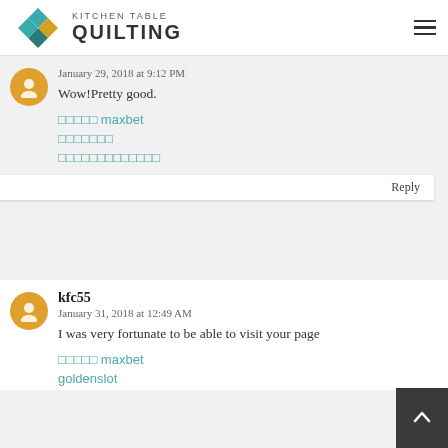Kitchen Table Quilting
Reply
January 29, 2018 at 9:12 PM
Wow!Pretty good.
□□□□□ maxbet
□□□□□□□
□□□□□□□□□□□□□
Reply
kfc55
January 31, 2018 at 12:49 AM
I was very fortunate to be able to visit your page
□□□□□ maxbet
goldenslot